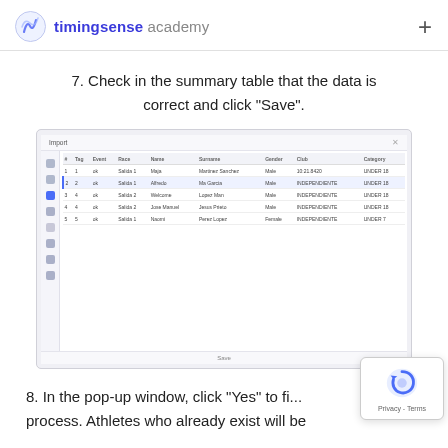timingsense academy
7. Check in the summary table that the data is correct and click “Save”.
[Figure (screenshot): Screenshot of a web application (timingsense academy) showing a data import summary table with athlete records including columns for Bib, Tag, Event, Race, Name, Surname, Gender, Club, Category. Rows include athletes: Maja (female, INDEPENDIENTE), Alfredo (male, INDEPENDIENTE), Lopez Man (male, INDEPENDIENTE), Jesus Manuel (male, INDEPENDIENTE), Perez Lopez (female, INDEPENDIENTE). One row is highlighted in blue. A Save button is visible at the bottom.]
8. In the pop-up window, click “Yes” to fi... process. Athletes who already exist will be